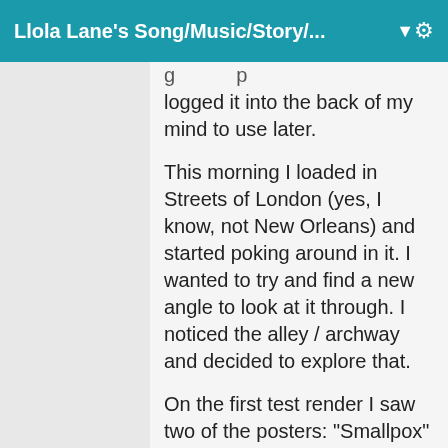Llola Lane's Song/Music/Story/...
logged it into the back of my mind to use later.
This morning I loaded in Streets of London (yes, I know, not New Orleans) and started poking around in it. I wanted to try and find a new angle to look at it through. I noticed the alley / archway and decided to explore that.
On the first test render I saw two of the posters: "Smallpox" and "Lost" and my mind went immediately back to the Nosferatu character I had mentally logged. Somewhere